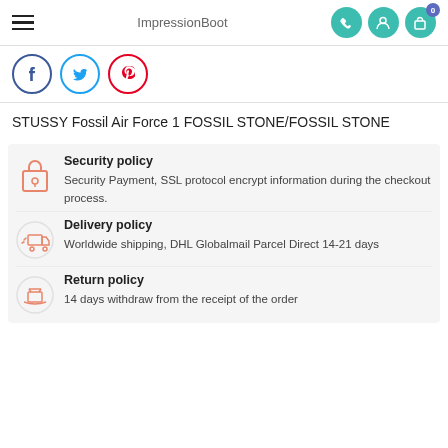ImpressionBoot
[Figure (screenshot): Social sharing icons: Facebook (blue circle outline), Twitter (cyan circle outline), Pinterest (red circle outline)]
STUSSY Fossil Air Force 1 FOSSIL STONE/FOSSIL STONE
Security policy – Security Payment, SSL protocol encrypt information during the checkout process.
Delivery policy – Worldwide shipping, DHL Globalmail Parcel Direct 14-21 days
Return policy – 14 days withdraw from the receipt of the order